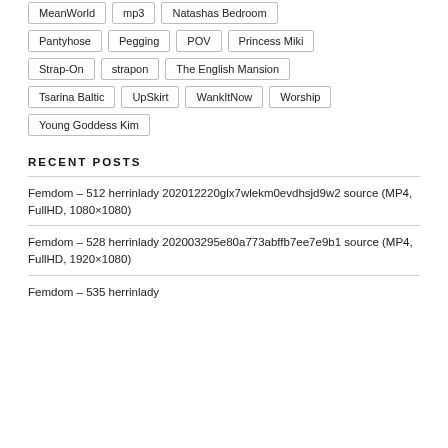MeanWorld
mp3
Natashas Bedroom
Pantyhose
Pegging
POV
Princess Miki
Strap-On
strapon
The English Mansion
Tsarina Baltic
UpSkirt
WankItNow
Worship
Young Goddess Kim
RECENT POSTS
Femdom – 512 herrinlady 202012220glx7wlekm0evdhsjd9w2 source (MP4, FullHD, 1080×1080)
Femdom – 528 herrinlady 202003295e80a773abffb7ee7e9b1 source (MP4, FullHD, 1920×1080)
Femdom – 535 herrinlady